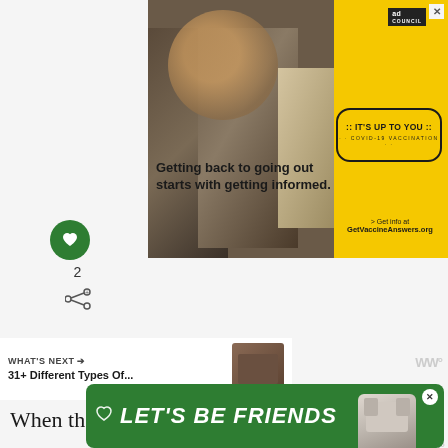[Figure (screenshot): Ad Council COVID-19 vaccination advertisement showing people at an outdoor event. Left side has photo of smiling friends, right side is yellow with 'IT'S UP TO YOU COVID-19 VACCINATION' stamp. Text reads 'Getting back to going out starts with getting informed.' and '> Get info at GetVaccineAnswers.org']
[Figure (screenshot): Green circular heart/like button with heart icon, showing count of 2 below it, and a share icon below that]
[Figure (screenshot): WHAT'S NEXT section showing '31+ Different Types Of...' with thumbnail image]
When the raised button is pushed, it closes or op...ased
[Figure (screenshot): Green banner ad at bottom reading LET'S BE FRIENDS with heart icon and husky dog image]